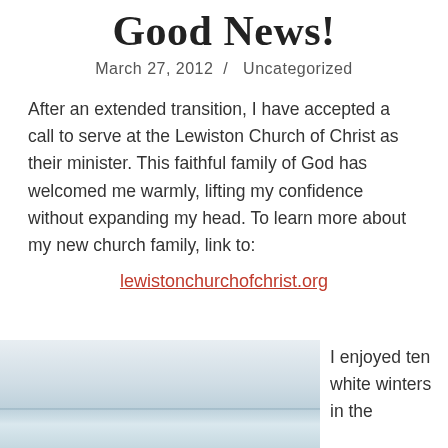Good News!
March 27, 2012  /  Uncategorized
After an extended transition, I have accepted a call to serve at the Lewiston Church of Christ as their minister. This faithful family of God has welcomed me warmly, lifting my confidence without expanding my head. To learn more about my new church family, link to:
lewistonchurchofchrist.org
[Figure (photo): Wintry landscape photo, likely showing a frozen or snowy scene with a pale sky and icy/snowy terrain near water]
I enjoyed ten white winters in the